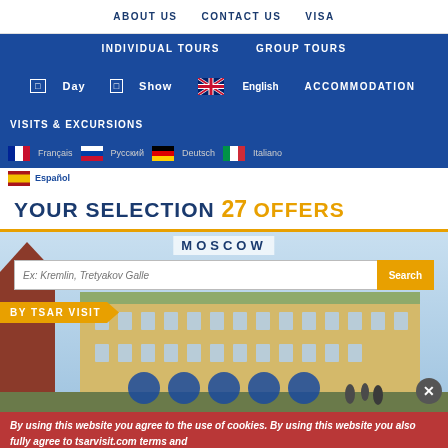ABOUT US   CONTACT US   VISA
INDIVIDUAL TOURS   GROUP TOURS
Day | Show | English | VISITS & EXCURSIONS | ACCOMMODATION
Français | Русский | Deutsch | Italiano | Español
YOUR SELECTION 27 OFFERS
MOSCOW
Ex: Kremlin, Tretyakov Galle
Search
BY TSAR VISIT
By using this website you agree to the use of cookies. By using this website you also fully agree to tsarvisit.com terms and